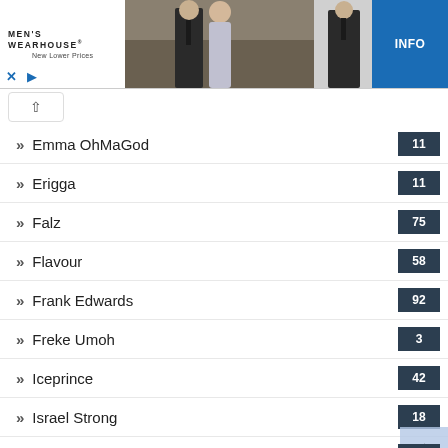[Figure (other): Men's Wearhouse advertisement banner showing couple in formal wear, single suit display, and INFO button]
Emma OhMaGod 11
Erigga 11
Falz 75
Flavour 58
Frank Edwards 92
Freke Umoh 3
Iceprince 42
Israel Strong 18
Iyanya 32
Jaymikee 10